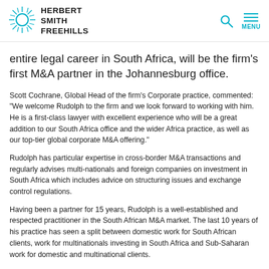HERBERT SMITH FREEHILLS
entire legal career in South Africa, will be the firm's first M&A partner in the Johannesburg office.
Scott Cochrane, Global Head of the firm's Corporate practice, commented: "We welcome Rudolph to the firm and we look forward to working with him. He is a first-class lawyer with excellent experience who will be a great addition to our South Africa office and the wider Africa practice, as well as our top-tier global corporate M&A offering."
Rudolph has particular expertise in cross-border M&A transactions and regularly advises multi-nationals and foreign companies on investment in South Africa which includes advice on structuring issues and exchange control regulations.
Having been a partner for 15 years, Rudolph is a well-established and respected practitioner in the South African M&A market. The last 10 years of his practice has seen a split between domestic work for South African clients, work for multinationals investing in South Africa and Sub-Saharan work for domestic and multinational clients.